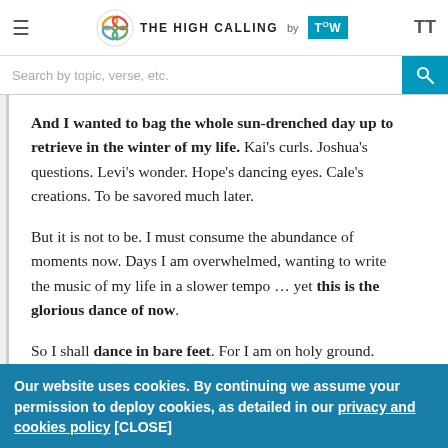THE HIGH CALLING by TOW
Search by topic, verse, etc.
And I wanted to bag the whole sun-drenched day up to retrieve in the winter of my life. Kai's curls. Joshua's questions. Levi's wonder. Hope's dancing eyes. Cale's creations. To be savored much later.

But it is not to be. I must consume the abundance of moments now. Days I am overwhelmed, wanting to write the music of my life in a slower tempo … yet this is the glorious dance of now.

So I shall dance in bare feet. For I am on holy ground.
That is why I write the family stories. A bagging up of all these
Our website uses cookies. By continuing we assume your permission to deploy cookies, as detailed in our privacy and cookies policy [CLOSE]